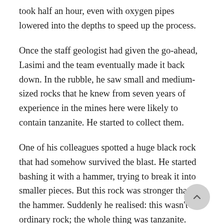took half an hour, even with oxygen pipes lowered into the depths to speed up the process.
Once the staff geologist had given the go-ahead, Lasimi and the team eventually made it back down. In the rubble, he saw small and medium-sized rocks that he knew from seven years of experience in the mines here were likely to contain tanzanite. He started to collect them.
One of his colleagues spotted a huge black rock that had somehow survived the blast. He started bashing it with a hammer, trying to break it into smaller pieces. But this rock was stronger than the hammer. Suddenly he realised: this wasn't ordinary rock; the whole thing was tanzanite.